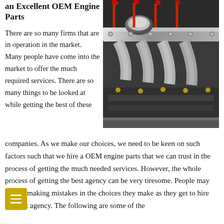an Excellent OEM Engine Parts
[Figure (photo): Close-up photograph of a polished chrome/silver car engine with red spark plug wires, showing intake manifold and other engine components.]
There are so many firms that are in operation in the market. Many people have come into the market to offer the much required services. There are so many things to be looked at while getting the best of these companies. As we make our choices, we need to be keen on such factors such that we hire a OEM engine parts that we can trust in the process of getting the much needed services. However, the whole process of getting the best agency can be very tiresome. People may end up making mistakes in the choices they make as they get to hire the best agency. The following are some of the